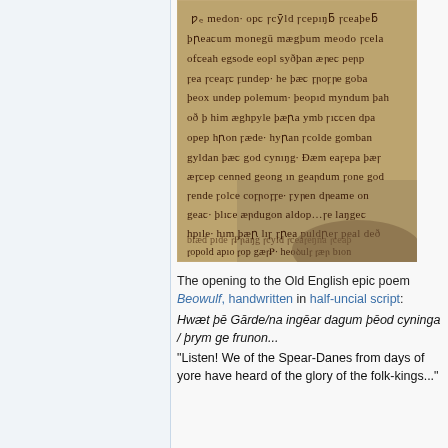[Figure (photo): A photograph of the opening lines of the Old English epic poem Beowulf, handwritten in half-uncial script on aged parchment. The manuscript page shows dark brown ink text on a tan/brown parchment background.]
The opening to the Old English epic poem Beowulf, handwritten in half-uncial script: Hwæt þē Gārde/na ingēar dagum þēod cyninga / þrym ge frunon... "Listen! We of the Spear-Danes from days of yore have heard of the glory of the folk-kings..."